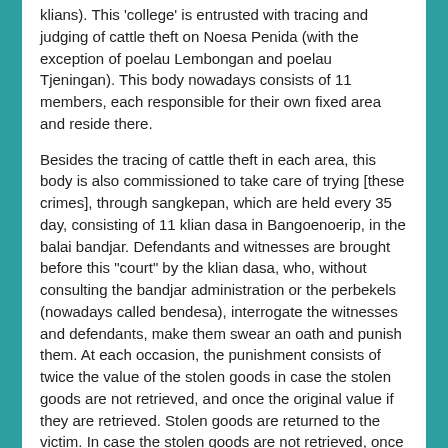(... klians). This 'college' is entrusted with tracing and judging of cattle theft on Noesa Penida (with the exception of poelau Lembongan and poelau Tjeningan). This body nowadays consists of 11 members, each responsible for their own fixed area and reside there.
Besides the tracing of cattle theft in each area, this body is also commissioned to take care of trying [these crimes], through sangkepan, which are held every 35 day, consisting of 11 klian dasa in Bangoenoerip, in the balai bandjar. Defendants and witnesses are brought before this "court" by the klian dasa, who, without consulting the bandjar administration or the perbekels (nowadays called bendesa), interrogate the witnesses and defendants, make them swear an oath and punish them. At each occasion, the punishment consists of twice the value of the stolen goods in case the stolen goods are not retrieved, and once the original value if they are retrieved. Stolen goods are returned to the victim. In case the stolen goods are not retrieved, once its value is returned and once its value is assigned to the klian dasa, who share it amongst themselves or deposit it in the 'kas sekehe'. In case of default of payment, the goods will be taken from the defendant (rampaging), also without mediation by the